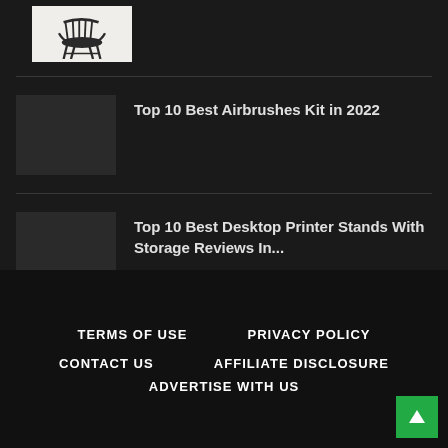[Figure (photo): Small thumbnail image of a dark wooden rocking/Windsor chair on light background]
Top 10 Best Airbrushes Kit in 2022
Top 10 Best Desktop Printer Stands With Storage Reviews In...
TERMS OF USE   PRIVACY POLICY   CONTACT US   AFFILIATE DISCLOSURE   ADVERTISE WITH US